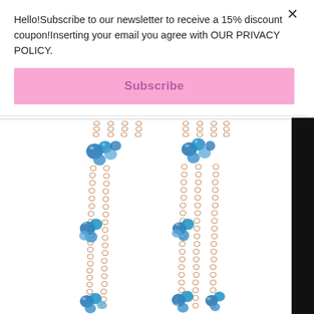Hello!Subscribe to our newsletter to receive a 15% discount coupon!Inserting your email you agree with OUR PRIVACY POLICY.
Subscribe
[Figure (photo): Two pairs of rose gold chain earrings with blue topaz gemstone clusters, showing dangling chains with blue faceted stones at the top and bottom of each earring strand.]